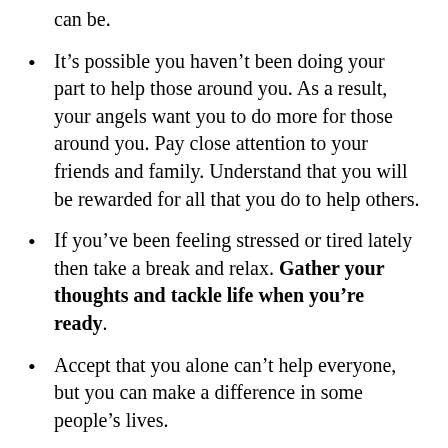needed if you are to become the best you can be.
It’s possible you haven’t been doing your part to help those around you. As a result, your angels want you to do more for those around you. Pay close attention to your friends and family. Understand that you will be rewarded for all that you do to help others.
If you’ve been feeling stressed or tired lately then take a break and relax. Gather your thoughts and tackle life when you’re ready.
Accept that you alone can’t help everyone, but you can make a difference in some people’s lives.
Be ready to change careers and, if you haven’t already, find true love. However,